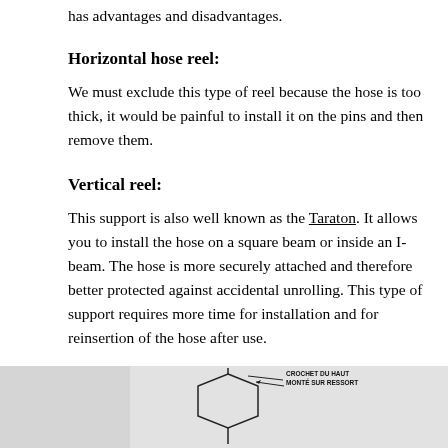has advantages and disadvantages.
Horizontal hose reel:
We must exclude this type of reel because the hose is too thick, it would be painful to install it on the pins and then remove them.
Vertical reel:
This support is also well known as the Taraton. It allows you to install the hose on a square beam or inside an I-beam. The hose is more securely attached and therefore better protected against accidental unrolling. This type of support requires more time for installation and for reinsertion of the hose after use.
[Figure (engineering-diagram): Diagram of a vertical reel support (Taraton) showing a hexagonal/square beam mount with spring-loaded top hook labeled 'CROCHET DU HAUT MONTÉ SUR RESSORT']